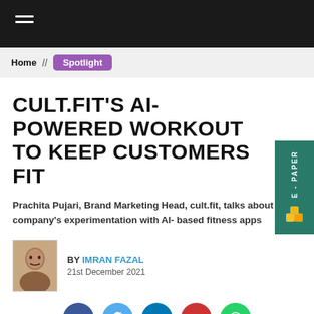Home // Spotlight
CULT.FIT'S AI-POWERED WORKOUT TO KEEP CUSTOMERS FIT
Prachita Pujari, Brand Marketing Head, cult.fit, talks about the company's experimentation with AI- based fitness apps
BY IMRAN FAZAL
21st December 2021
[Figure (other): Social sharing icons: Facebook, Twitter, LinkedIn, Email, WhatsApp]